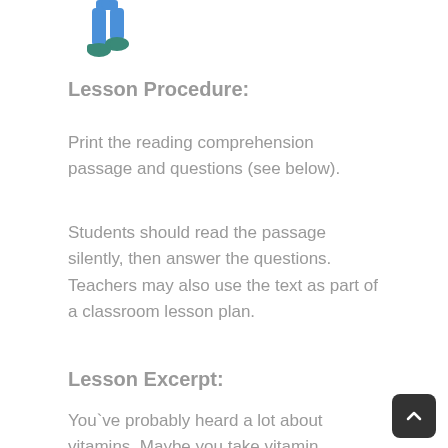[Figure (illustration): Partial illustration of a person figure (legs visible) in blue pants and teal shoes, cropped at the top of the page.]
Lesson Procedure:
Print the reading comprehension passage and questions (see below).
Students should read the passage silently, then answer the questions. Teachers may also use the text as part of a classroom lesson plan.
Lesson Excerpt:
You`ve probably heard a lot about vitamins. Maybe you take vitamin